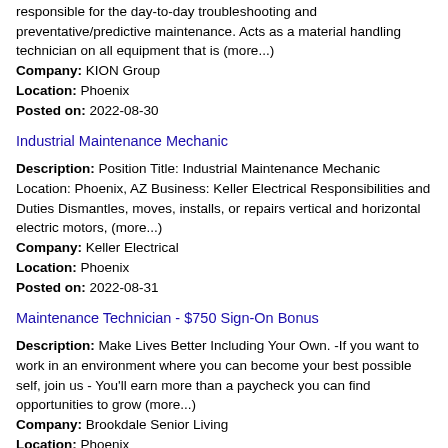responsible for the day-to-day troubleshooting and preventative/predictive maintenance. Acts as a material handling technician on all equipment that is (more...)
Company: KION Group
Location: Phoenix
Posted on: 2022-08-30
Industrial Maintenance Mechanic
Description: Position Title: Industrial Maintenance Mechanic Location: Phoenix, AZ Business: Keller Electrical Responsibilities and Duties Dismantles, moves, installs, or repairs vertical and horizontal electric motors, (more...)
Company: Keller Electrical
Location: Phoenix
Posted on: 2022-08-31
Maintenance Technician - $750 Sign-On Bonus
Description: Make Lives Better Including Your Own. -If you want to work in an environment where you can become your best possible self, join us - You'll earn more than a paycheck you can find opportunities to grow (more...)
Company: Brookdale Senior Living
Location: Phoenix
Posted on: 2022-08-31
General Pool Maintenance - JW Marriott Phoenix Desert Ridge Resort & Spa(14001XA1)
Description: It ensures a safe, dedicated, and quality finishing and...